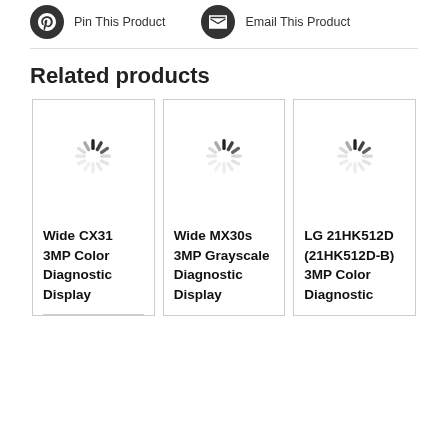[Figure (illustration): Two icon buttons: 'Pin This Product' (Pinterest-style icon) and 'Email This Product' (email icon), both dark circular icons with text labels]
Related products
[Figure (screenshot): Three product cards in a row, each showing a loading spinner and product title. Card 1: Wide CX31 3MP Color Diagnostic Display. Card 2: Wide MX30s 3MP Grayscale Diagnostic Display. Card 3: LG 21HK512D (21HK512D-B) 3MP Color Diagnostic]
Wide CX31 3MP Color Diagnostic Display
Wide MX30s 3MP Grayscale Diagnostic Display
LG 21HK512D (21HK512D-B) 3MP Color Diagnostic